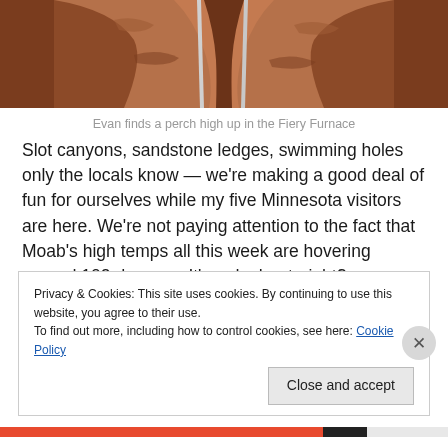[Figure (photo): Photo of Evan finding a perch high up in the Fiery Furnace, showing sandstone rock formations with what appears to be climbing equipment or poles visible against red/orange canyon walls]
Evan finds a perch high up in the Fiery Furnace
Slot canyons, sandstone ledges, swimming holes only the locals know — we're making a good deal of fun for ourselves while my five Minnesota visitors are here. We're not paying attention to the fact that Moab's high temps all this week are hovering around 102 degrees. It's a dry heat, right?
Privacy & Cookies: This site uses cookies. By continuing to use this website, you agree to their use.
To find out more, including how to control cookies, see here: Cookie Policy
Close and accept